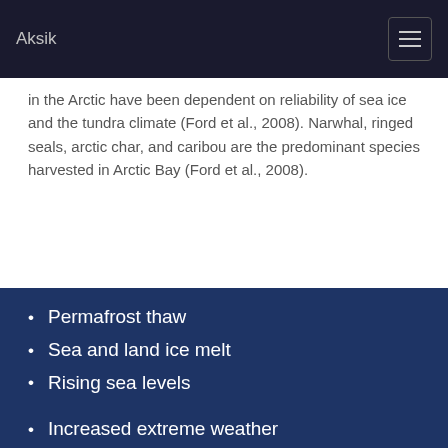Aksik
in the Arctic have been dependent on reliability of sea ice and the tundra climate (Ford et al., 2008). Narwhal, ringed seals, arctic char, and caribou are the predominant species harvested in Arctic Bay (Ford et al., 2008).
Permafrost thaw
Sea and land ice melt
Rising sea levels
Increased extreme weather